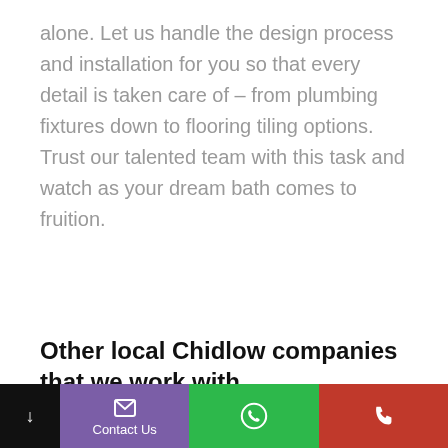alone. Let us handle the design process and installation for you so that every detail is taken care of – from plumbing fixtures down to flooring tiling options. Trust our talented team with this task and watch as your dream bath comes to fruition.
Other local Chidlow companies that we work with
↓ | Contact Us | [whatsapp icon] | [phone icon]